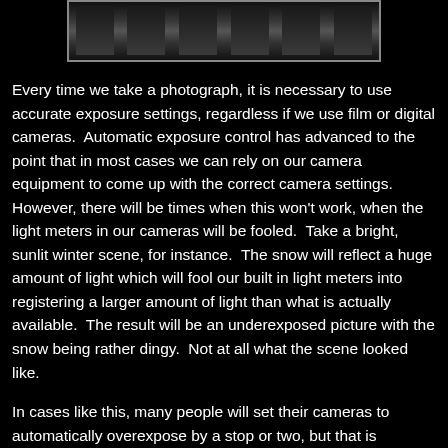[Figure (photo): Black and white photograph showing rows of dark theater or auditorium seats viewed from the front, partial view at top of page]
Every time we take a photograph, it is necessary to use accurate exposure settings, regardless if we use film or digital cameras.  Automatic exposure control has advanced to the point that in most cases we can rely on our camera equipment to come up with the correct camera settings.  However, there will be times when this won't work, when the light meters in our cameras will be fooled.  Take a bright, sunlit winter scene, for instance.  The snow will reflect a huge amount of light which will fool our built in light meters into registering a larger amount of light than what is actually available.  The result will be an underexposed picture with the snow being rather dingy.  Not at all what the scene looked like.
In cases like this, many people will set their cameras to automatically overexpose by a stop or two, but that is